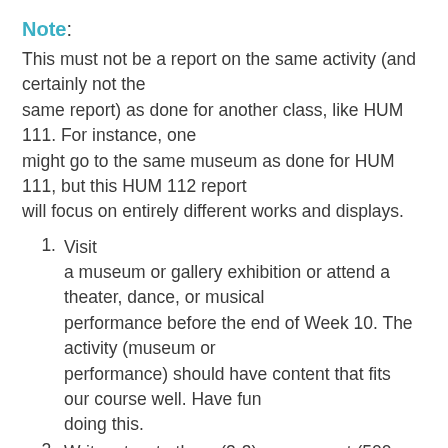Note:
This must not be a report on the same activity (and certainly not the same report) as done for another class, like HUM 111. For instance, one might go to the same museum as done for HUM 111, but this HUM 112 report will focus on entirely different works and displays.
Visit a museum or gallery exhibition or attend a theater, dance, or musical performance before the end of Week 10. The activity (museum or performance) should have content that fits our course well. Have fun doing this.
Write a two to three (2-3) page report (500...